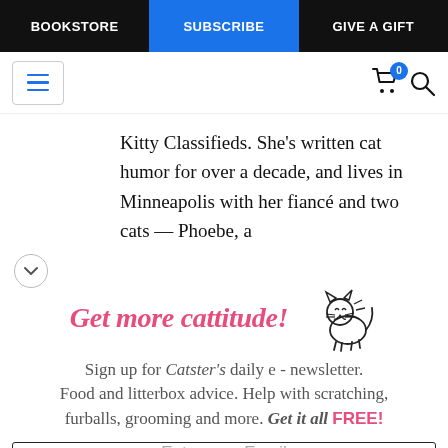BOOKSTORE | SUBSCRIBE | GIVE A GIFT
Kitty Classifieds. She's written cat humor for over a decade, and lives in Minneapolis with her fiancé and two cats — Phoebe, a
[Figure (illustration): Cute hand-drawn cat illustration]
Get more cattitude!
Sign up for Catster's daily e - newsletter. Food and litterbox advice. Help with scratching, furballs, grooming and more. Get it all FREE!
Enter your Email
YES! SIGN ME UP